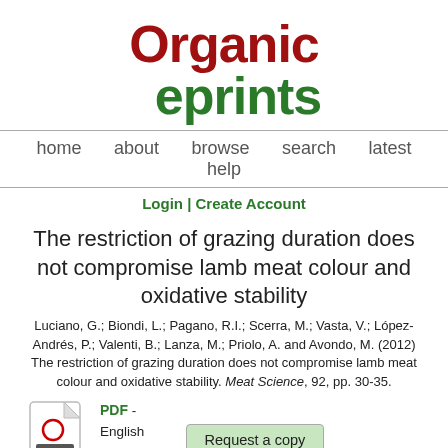[Figure (logo): Organic eprints logo — 'Organic' in dark red bold, 'eprints' in dark green bold]
home   about   browse   search   latest   help
Login | Create Account
The restriction of grazing duration does not compromise lamb meat colour and oxidative stability
Luciano, G.; Biondi, L.; Pagano, R.I.; Scerra, M.; Vasta, V.; López-Andrés, P.; Valenti, B.; Lanza, M.; Priolo, A. and Avondo, M. (2012) The restriction of grazing duration does not compromise lamb meat colour and oxidative stability. Meat Science, 92, pp. 30-35.
[Figure (illustration): PDF file icon with a red circle and PDF label]
PDF - English Limited to [Depositor and staff only]
Request a copy